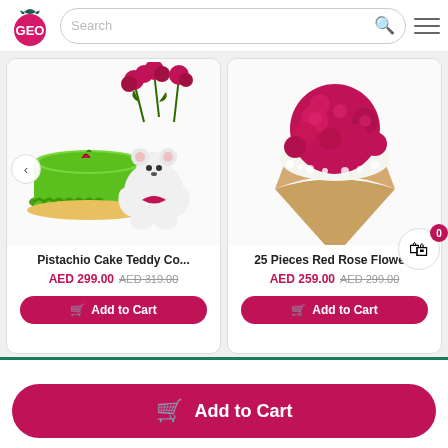[Figure (screenshot): E-commerce website header with logo (GEO gift brand in pink and teal), search bar, and hamburger menu]
[Figure (photo): Product photo: Pistachio Cake with Teddy and red roses bouquet combo]
Pistachio Cake Teddy Co...
AED 299.00 AED 319.00
Add to Cart
[Figure (photo): Product photo: 25 Pieces Red Rose Flower bouquet wrapped in kraft paper]
25 Pieces Red Rose Flowe...
AED 259.00 AED 299.00
Add to Cart
Add to Cart